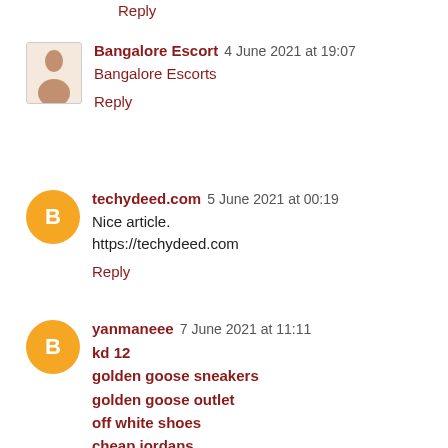Reply
Bangalore Escort 4 June 2021 at 19:07
Bangalore Escorts
Reply
techydeed.com 5 June 2021 at 00:19
Nice article.
https://techydeed.com
Reply
yanmaneee 7 June 2021 at 11:11
kd 12
golden goose sneakers
golden goose outlet
off white shoes
cheap jordans
off white